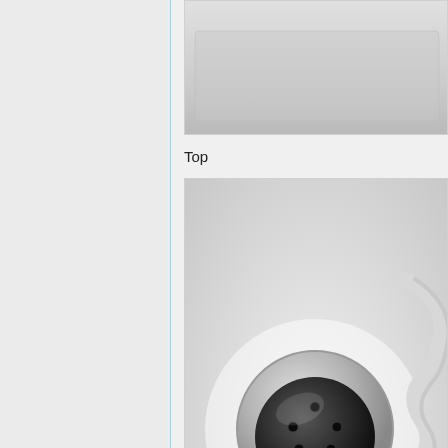[Figure (photo): Top view of a keyboard or device, partially visible at top of page]
Top
[Figure (photo): Close-up photo of an AT keyboard plug connector - black circular DIN connector with 5 pins on a white/gray cable, with a coiled cable visible to the right]
AT plug
[Figure (photo): Close-up photo of the bottom label of a keyboard showing FCC ID: E5XKBM10410, MADE IN CHINA (B), and FCC compliance text]